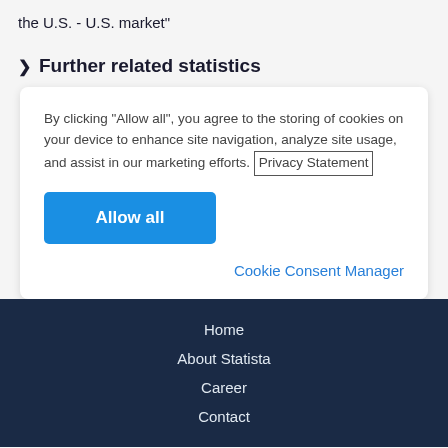the U.S. - U.S. market"
Further related statistics
By clicking “Allow all”, you agree to the storing of cookies on your device to enhance site navigation, analyze site usage, and assist in our marketing efforts. Privacy Statement
Allow all
Cookie Consent Manager
Home
About Statista
Career
Contact